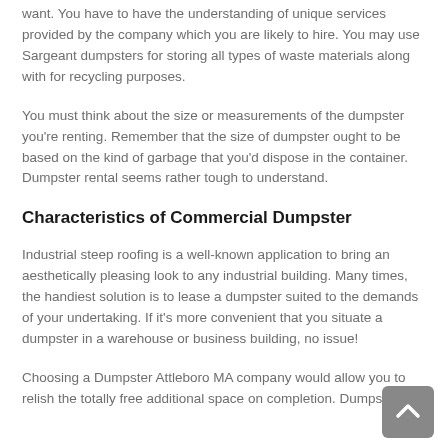want. You have to have the understanding of unique services provided by the company which you are likely to hire. You may use Sargeant dumpsters for storing all types of waste materials along with for recycling purposes.
You must think about the size or measurements of the dumpster you're renting. Remember that the size of dumpster ought to be based on the kind of garbage that you'd dispose in the container. Dumpster rental seems rather tough to understand.
Characteristics of Commercial Dumpster
Industrial steep roofing is a well-known application to bring an aesthetically pleasing look to any industrial building. Many times, the handiest solution is to lease a dumpster suited to the demands of your undertaking. If it's more convenient that you situate a dumpster in a warehouse or business building, no issue!
Choosing a Dumpster Attleboro MA company would allow you to relish the totally free additional space on completion. Dumpster